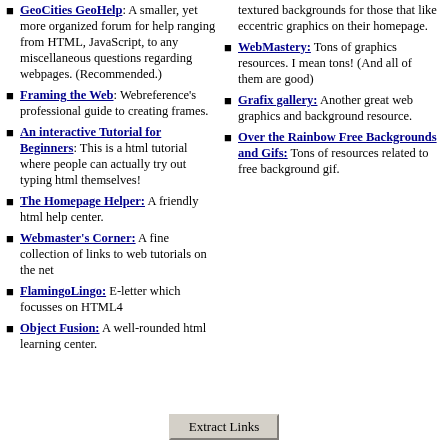GeoCities GeoHelp: A smaller, yet more organized forum for help ranging from HTML, JavaScript, to any miscellaneous questions regarding webpages. (Recommended.)
Framing the Web: Webreference's professional guide to creating frames.
An interactive Tutorial for Beginners: This is a html tutorial where people can actually try out typing html themselves!
The Homepage Helper: A friendly html help center.
Webmaster's Corner: A fine collection of links to web tutorials on the net
FlamingoLingo: E-letter which focusses on HTML4
Object Fusion: A well-rounded html learning center.
textured backgrounds for those that like eccentric graphics on their homepage.
WebMastery: Tons of graphics resources. I mean tons! (And all of them are good)
Grafix gallery: Another great web graphics and background resource.
Over the Rainbow Free Backgrounds and Gifs: Tons of resources related to free background gif.
Extract Links